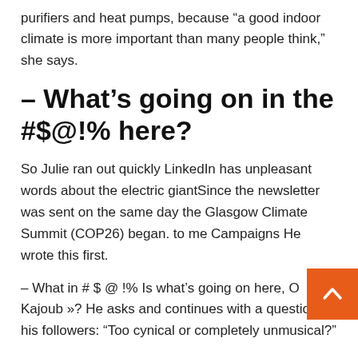purifiers and heat pumps, because “a good indoor climate is more important than many people think,” she says.
– What’s going on in the #$@!% here?
So Julie ran out quickly LinkedIn has unpleasant words about the electric giantSince the newsletter was sent on the same day the Glasgow Climate Summit (COP26) began. to me Campaigns He wrote this first.
– What in # $ @ !% Is what’s going on here, O Kajoub »? He asks and continues with a question for his followers: “Too cynical or completely unmusical?”
Read also: A minister in a wheelchair was unable to reach the climate summit: – Deeply disappointed and